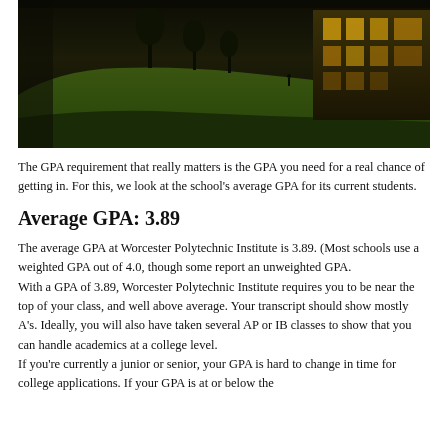[Figure (photo): Campus photo of Worcester Polytechnic Institute showing a grassy hill with trees and a building with large windows at dusk/night]
The GPA requirement that really matters is the GPA you need for a real chance of getting in. For this, we look at the school's average GPA for its current students.
Average GPA: 3.89
The average GPA at Worcester Polytechnic Institute is 3.89. (Most schools use a weighted GPA out of 4.0, though some report an unweighted GPA.
With a GPA of 3.89, Worcester Polytechnic Institute requires you to be near the top of your class, and well above average. Your transcript should show mostly A's. Ideally, you will also have taken several AP or IB classes to show that you can handle academics at a college level.
If you're currently a junior or senior, your GPA is hard to change in time for college applications. If your GPA is at or below the